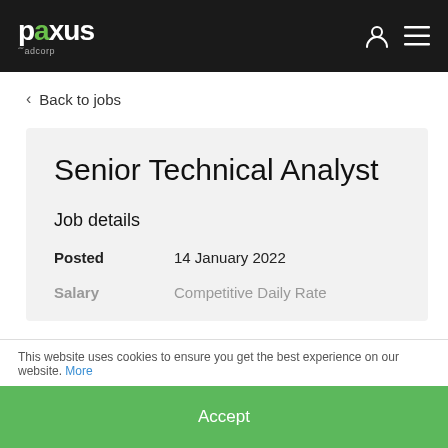[Figure (logo): Paxus by adcorp logo — white text on dark background, with green 'x' letter]
< Back to jobs
Senior Technical Analyst
Job details
Posted    14 January 2022
Salary    Competitive Daily Rate
This website uses cookies to ensure you get the best experience on our website. More
Accept